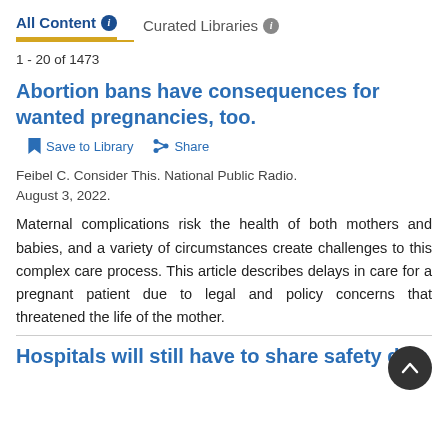All Content   Curated Libraries
1 - 20 of 1473
Abortion bans have consequences for wanted pregnancies, too.
Save to Library   Share
Feibel C. Consider This. National Public Radio. August 3, 2022.
Maternal complications risk the health of both mothers and babies, and a variety of circumstances create challenges to this complex care process. This article describes delays in care for a pregnant patient due to legal and policy concerns that threatened the life of the mother.
Hospitals will still have to share safety data